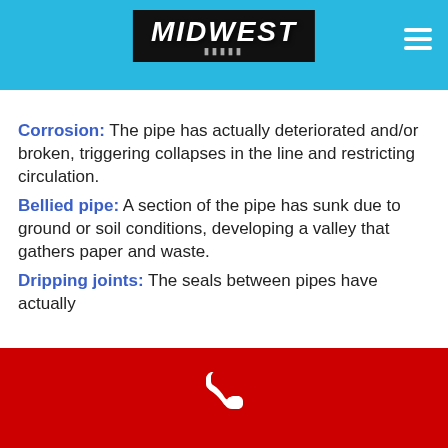MIDWEST
Corrosion: The pipe has actually deteriorated and/or broken, triggering collapses in the line and restricting circulation.
Bellied pipe: A section of the pipe has sunk due to ground or soil conditions, developing a valley that gathers paper and waste.
Dripping joints: The seals between pipes have actually